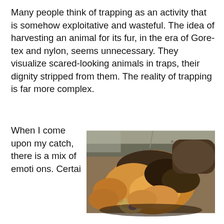Many people think of trapping as an activity that is somehow exploitative and wasteful. The idea of harvesting an animal for its fur, in the era of Gore-tex and nylon, seems unnecessary. They visualize scared-looking animals in traps, their dignity stripped from them. The reality of trapping is far more complex.
When I come upon my catch, there is a mix of emotions. Certai...
[Figure (photo): Close-up photograph of fox or similar fur-bearing animals piled together, showing orange-brown and dark fur, paws visible.]